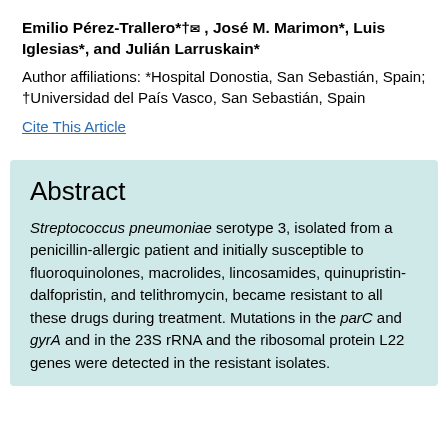Emilio Pérez-Trallero*†✉ , José M. Marimon*, Luis Iglesias*, and Julián Larruskain*
Author affiliations: *Hospital Donostia, San Sebastián, Spain; †Universidad del País Vasco, San Sebastián, Spain
Cite This Article
Abstract
Streptococcus pneumoniae serotype 3, isolated from a penicillin-allergic patient and initially susceptible to fluoroquinolones, macrolides, lincosamides, quinupristin-dalfopristin, and telithromycin, became resistant to all these drugs during treatment. Mutations in the parC and gyrA and in the 23S rRNA and the ribosomal protein L22 genes were detected in the resistant isolates.